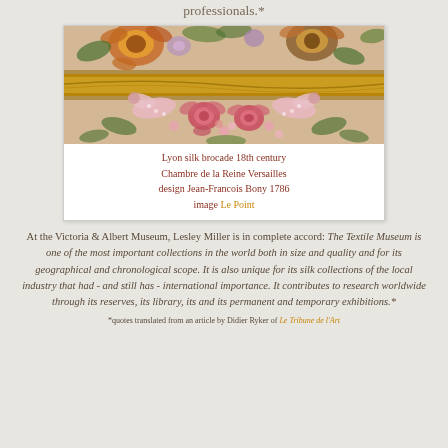professionals.*
[Figure (photo): Lyon silk brocade tapestry from 18th century with floral motifs including roses, birds, and decorative flowers in rich reds, pinks, golds, and greens]
Lyon silk brocade 18th century
Chambre de la Reine Versailles
design Jean-Francois Bony 1786
image Le Point
At the Victoria & Albert Museum, Lesley Miller is in complete accord: The Textile Museum is one of the most important collections in the world both in size and quality and for its geographical and chronological scope. It is also unique for its silk collections of the local industry that had - and still has - international importance. It contributes to research worldwide through its reserves, its library, its and its permanent and temporary exhibitions.*
*quotes translated from an article by Didier Ryker of Le Tribune de l'Art